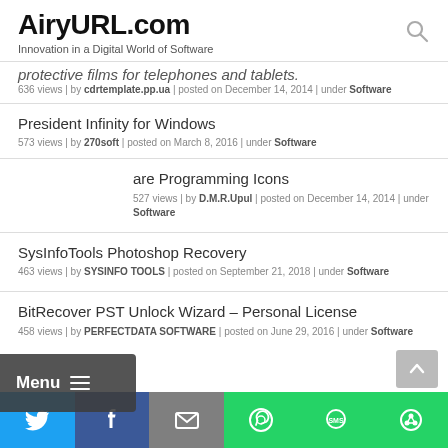AiryURL.com — Innovation in a Digital World of Software
protective films for telephones and tablets. 636 views | by cdrtemplate.pp.ua | posted on December 14, 2014 | under Software
President Infinity for Windows — 573 views | by 270soft | posted on March 8, 2016 | under Software
Software Programming Icons — 527 views | by D.M.R.Upul | posted on December 14, 2014 | under Software
SysInfoTools Photoshop Recovery — 463 views | by SYSINFO TOOLS | posted on September 21, 2018 | under Software
BitRecover PST Unlock Wizard – Personal License — 458 views | by PERFECTDATA SOFTWARE | posted on June 29, 2016 | under Software